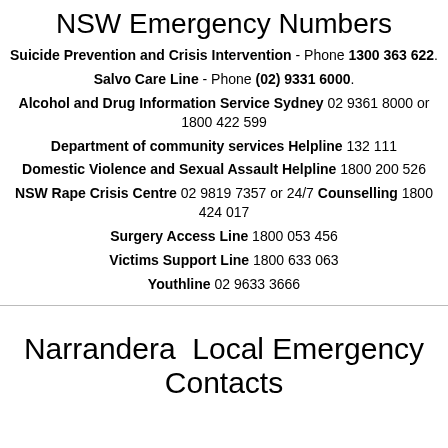NSW Emergency Numbers
Suicide Prevention and Crisis Intervention - Phone 1300 363 622.
Salvo Care Line - Phone (02) 9331 6000.
Alcohol and Drug Information Service Sydney 02 9361 8000 or 1800 422 599
Department of community services Helpline 132 111
Domestic Violence and Sexual Assault Helpline 1800 200 526
NSW Rape Crisis Centre 02 9819 7357 or 24/7 Counselling 1800 424 017
Surgery Access Line 1800 053 456
Victims Support Line 1800 633 063
Youthline 02 9633 3666
Narrandera  Local Emergency Contacts